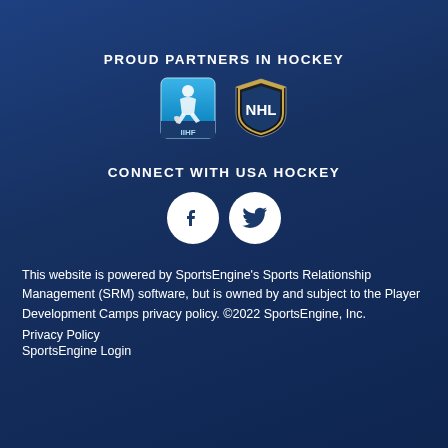PROUD PARTNERS IN HOCKEY
[Figure (logo): IIHF logo (shield shape, blue and white with hockey player silhouette) and NHL shield logo side by side]
CONNECT WITH USA HOCKEY
[Figure (illustration): Facebook and Twitter social media icons as white circles with dark letter f and bird logo respectively]
This website is powered by SportsEngine's Sports Relationship Management (SRM) software, but is owned by and subject to the Player Development Camps privacy policy. ©2022 SportsEngine, Inc.
Privacy Policy
SportsEngine Login